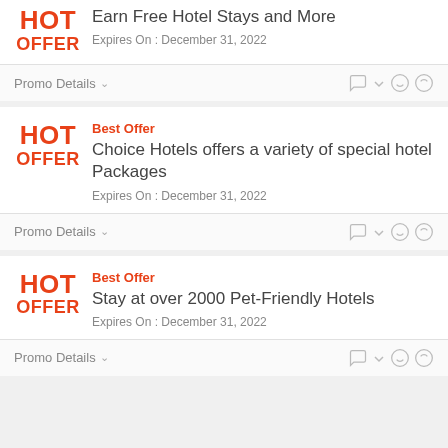HOT OFFER
Earn Free Hotel Stays and More
Expires On : December 31, 2022
Promo Details
Best Offer
HOT OFFER
Choice Hotels offers a variety of special hotel Packages
Expires On : December 31, 2022
Promo Details
Best Offer
HOT OFFER
Stay at over 2000 Pet-Friendly Hotels
Expires On : December 31, 2022
Promo Details